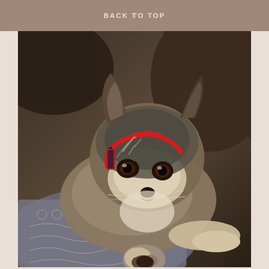BACK TO TOP
[Figure (photo): A small dog, possibly a Chihuahua mix with gray and tan coloring, wearing a red harness, lying down on a patterned blanket with dark background. The dog is looking directly at the camera with dark brown eyes.]